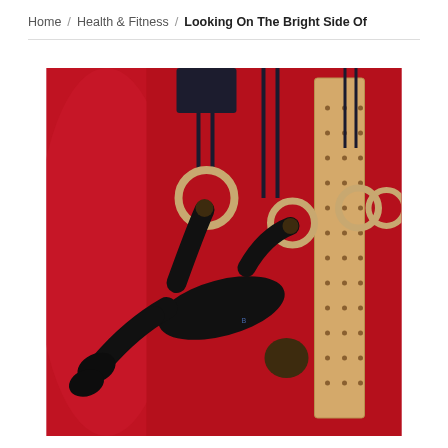Home / Health & Fitness / Looking On The Bright Side Of
[Figure (photo): A man dressed in all black athletic wear performing a gymnastics ring exercise (iron cross or muscle-up position) in a gym with a bright red wall background. Wooden gymnastics rings hang from dark straps. A wooden peg board is visible on the right side. The athlete's body is nearly horizontal, demonstrating extreme strength.]